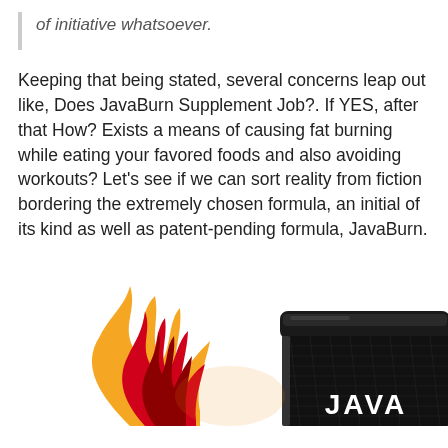of initiative whatsoever.
Keeping that being stated, several concerns leap out like, Does JavaBurn Supplement Job?. If YES, after that How? Exists a means of causing fat burning while eating your favored foods and also avoiding workouts? Let’s see if we can sort reality from fiction bordering the extremely chosen formula, an initial of its kind as well as patent-pending formula, JavaBurn.
[Figure (photo): JavaBurn supplement product container, a black cylindrical jar with a diamond-pattern texture and the word JAVA visible on the label, with a large orange-red-yellow flame graphic behind/beside it on the left side.]